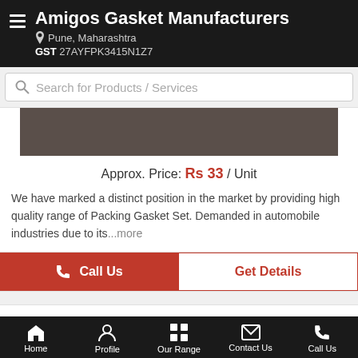Amigos Gasket Manufacturers
Pune, Maharashtra
GST 27AYFPK3415N1Z7
Search for Products / Services
[Figure (photo): Dark brown product image background area]
Approx. Price: Rs 33 / Unit
We have marked a distinct position in the market by providing high quality range of Packing Gasket Set. Demanded in automobile industries due to its...more
Call Us
Get Details
TVS Half Gasket Kit-Half Packing Set
Home  Profile  Our Range  Contact Us  Call Us